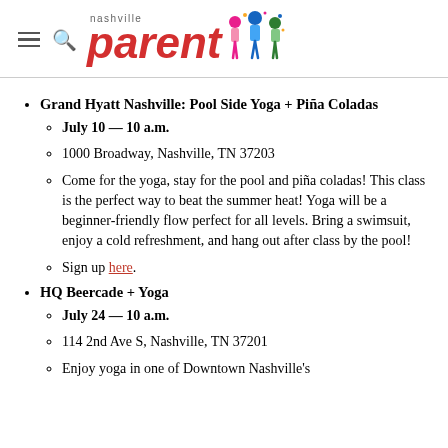nashville parent
Grand Hyatt Nashville: Pool Side Yoga + Piña Coladas
July 10 — 10 a.m.
1000 Broadway, Nashville, TN 37203
Come for the yoga, stay for the pool and piña coladas! This class is the perfect way to beat the summer heat! Yoga will be a beginner-friendly flow perfect for all levels. Bring a swimsuit, enjoy a cold refreshment, and hang out after class by the pool!
Sign up here.
HQ Beercade + Yoga
July 24 — 10 a.m.
114 2nd Ave S, Nashville, TN 37201
Enjoy yoga in one of Downtown Nashville's